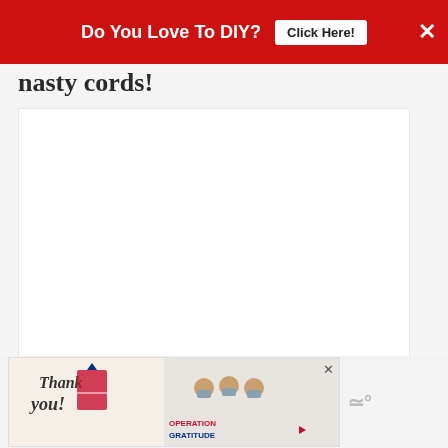Do You Love To DIY?  Click Here!  ×
nasty cords!
[Figure (photo): Large white/light gray photo area, partially visible, showing a home DIY project related to cord management]
[Figure (infographic): Heart (favorite) button - red circle with white heart icon]
[Figure (infographic): Share button - white circle with share icon]
WHAT'S NEXT → Master Bedroom...
[Figure (photo): Thumbnail image for 'What's Next' - Master Bedroom article]
[Figure (infographic): Advertisement banner - Thank You / Operation Gratitude ad with medical workers holding cards]